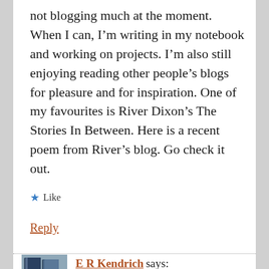not blogging much at the moment. When I can, I'm writing in my notebook and working on projects. I'm also still enjoying reading other people's blogs for pleasure and for inspiration. One of my favourites is River Dixon's The Stories In Between. Here is a recent poem from River's blog. Go check it out.
★ Like
Reply
E R Kendrich says:
August 23, 2019 at 9:20 am